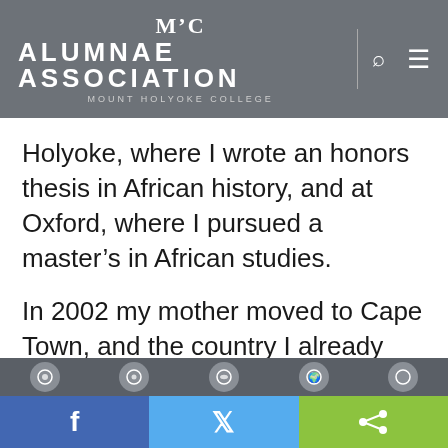MHC ALUMNAE ASSOCIATION MOUNT HOLYOKE COLLEGE
Holyoke, where I wrote an honors thesis in African history, and at Oxford, where I pursued a master’s in African studies.
In 2002 my mother moved to Cape Town, and the country I already loved became home to me, too. In December, I was on my way to South Africa to conduct fieldwork for my PhD in African history at Princeton. Little did I know when booking my ticket that
f  (share)  (tweet)  (share/other)